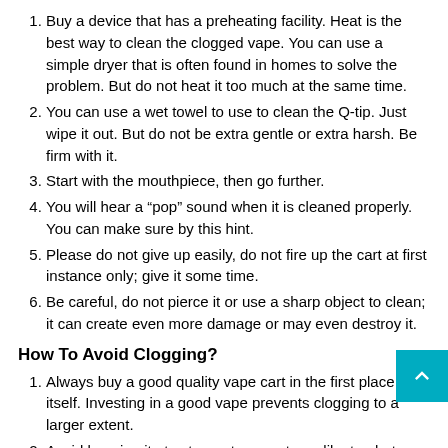Buy a device that has a preheating facility. Heat is the best way to clean the clogged vape. You can use a simple dryer that is often found in homes to solve the problem. But do not heat it too much at the same time.
You can use a wet towel to use to clean the Q-tip. Just wipe it out. But do not be extra gentle or extra harsh. Be firm with it.
Start with the mouthpiece, then go further.
You will hear a “pop” sound when it is cleaned properly. You can make sure by this hint.
Please do not give up easily, do not fire up the cart at first instance only; give it some time.
Be careful, do not pierce it or use a sharp object to clean; it can create even more damage or may even destroy it.
How To Avoid Clogging?
Always buy a good quality vape cart in the first place itself. Investing in a good vape prevents clogging to a larger extent.
Avoid keeping it at extreme temperatures like too hot or too cold.